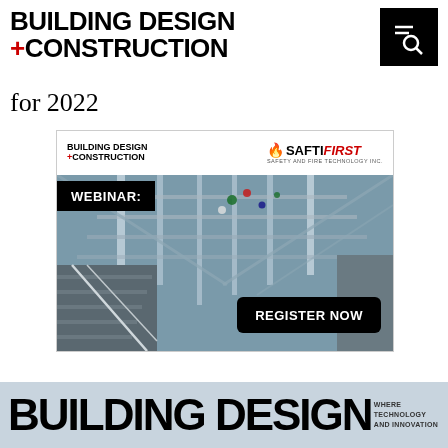BUILDING DESIGN +CONSTRUCTION
for 2022
[Figure (screenshot): Webinar advertisement for Building Design + Construction and SAFTI FIRST, showing an architectural interior with a glass skylight atrium. A 'WEBINAR:' label appears in the upper left in white text on black background. A 'REGISTER NOW' button appears in the lower right on a black rounded rectangle.]
[Figure (logo): Bottom banner showing 'BUILDING DESIGN' in large bold black text on a light blue-gray background, with 'WHERE TECHNOLOGY AND INNOVATION' text on the right side.]